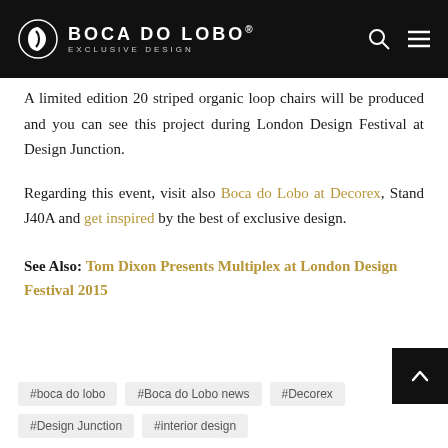BOCA DO LOBO® exclusive design
A limited edition 20 striped organic loop chairs will be produced and you can see this project during London Design Festival at Design Junction.
Regarding this event, visit also Boca do Lobo at Decorex, Stand J40A and get inspired by the best of exclusive design.
See Also: Tom Dixon Presents Multiplex at London Design Festival 2015
#boca do lobo
#Boca do Lobo news
#Decorex
#Design Junction
#interior design